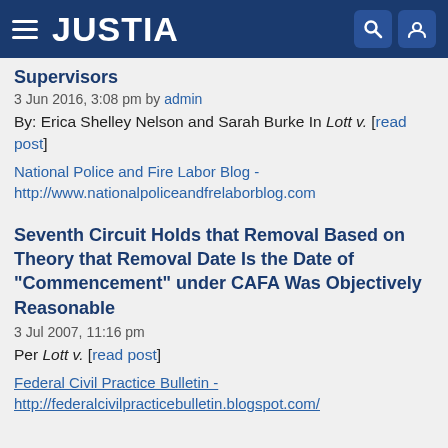[Figure (screenshot): Justia website navigation bar with hamburger menu, JUSTIA logo, search icon, and user icon on dark blue background]
Supervisors
3 Jun 2016, 3:08 pm by admin
By: Erica Shelley Nelson and Sarah Burke In Lott v. [read post]
National Police and Fire Labor Blog - http://www.nationalpoliceandfrelaborblog.com
Seventh Circuit Holds that Removal Based on Theory that Removal Date Is the Date of "Commencement" under CAFA Was Objectively Reasonable
3 Jul 2007, 11:16 pm
Per Lott v. [read post]
Federal Civil Practice Bulletin - http://federalcivilpracticebulletin.blogspot.com/